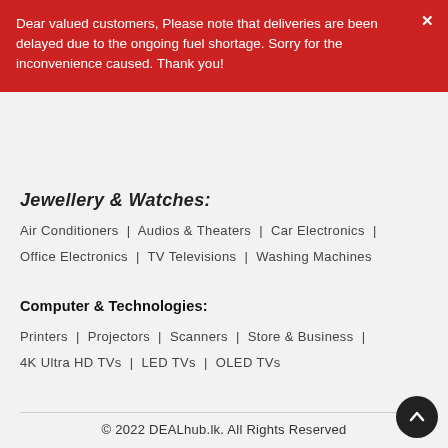Dear valued customers, Please note that deliveries are been delayed due to the ongoing fuel shortage. Sorry for the inconvenience caused. Thank you!
Jewellery & Watches:
Air Conditioners | Audios & Theaters | Car Electronics | Office Electronics | TV Televisions | Washing Machines
Computer & Technologies:
Printers | Projectors | Scanners | Store & Business | 4K Ultra HD TVs | LED TVs | OLED TVs
© 2022 DEALhub.lk. All Rights Reserved
[Figure (other): Row of payment method logos: VISA, Mastercard, American Express, HNB, and several other Sri Lankan payment methods]